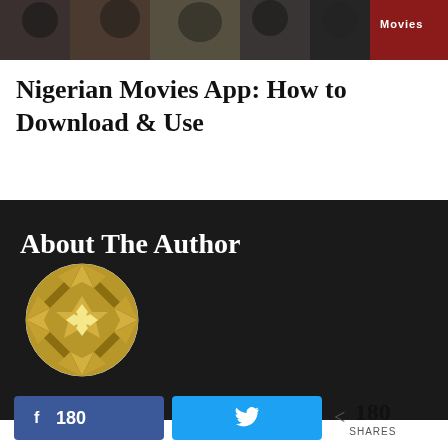[Figure (photo): Cropped top image showing Nigerian movie characters/collage with red label 'Movies' on right side]
Nigerian Movies App: How to Download & Use
About The Author
[Figure (logo): Gold/dark yellow circular author avatar with geometric star/diamond pattern inside]
180 shares — Facebook share button with count 180, Twitter share button, share icon with 180 SHARES